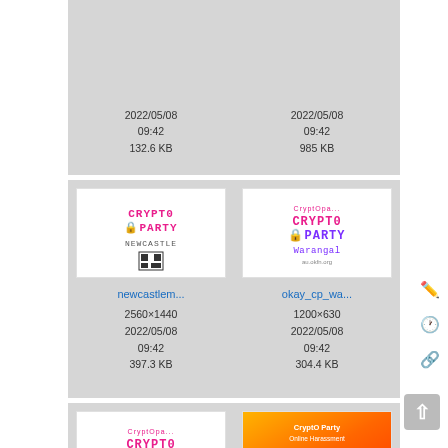[Figure (screenshot): File manager grid view showing thumbnail images of CryptoParty event files]
2022/05/08 09:42
132.6 KB
2022/05/08 09:42
985 KB
[Figure (logo): CryptoParty Newcastle logo thumbnail]
newcastlem...
2560×1440
2022/05/08 09:42
397.3 KB
[Figure (logo): CryptoParty Warangal logo thumbnail]
okay_cp_wa...
1200×630
2022/05/08 09:42
304.4 KB
[Figure (logo): CryptoParty Warangal logo thumbnail (second)]
okay_cp_wa...
[Figure (photo): Orange gradient online harassment event image]
onlineharas...